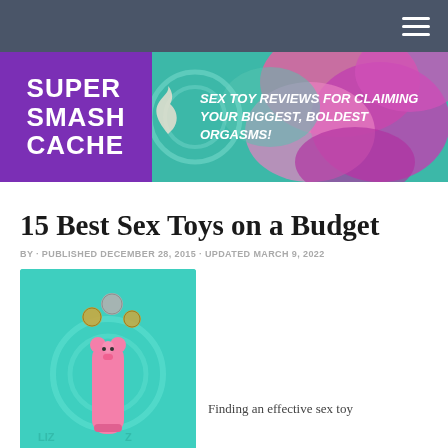Super Smash Cache — SEX TOY REVIEWS FOR CLAIMING YOUR BIGGEST, BOLDEST ORGASMS!
15 Best Sex Toys on a Budget
BY · PUBLISHED DECEMBER 28, 2015 · UPDATED MARCH 9, 2022
[Figure (photo): Pink vibrator toy with coins floating above it on a teal background with circular wave graphics]
Finding an effective sex toy